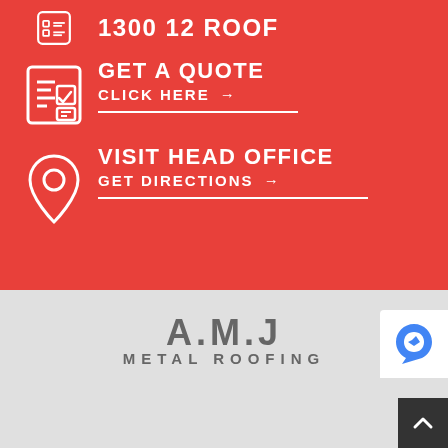1300 12 ROOF
GET A QUOTE
CLICK HERE →
VISIT HEAD OFFICE
GET DIRECTIONS →
[Figure (logo): A.M.J METAL ROOFING logo in grey text]
SERVICES
RESIDENTIAL
PROJECTS
RESIDENTIAL